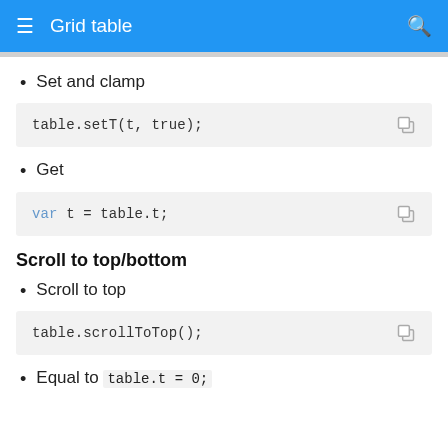Grid table
Set and clamp
table.setT(t, true);
Get
var t = table.t;
Scroll to top/bottom
Scroll to top
table.scrollToTop();
Equal to table.t = 0;